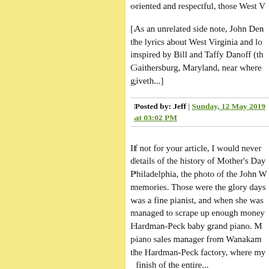oriented and respectful, those West V
[As an unrelated side note, John Den the lyrics about West Virginia and lo inspired by Bill and Taffy Danoff (th Gaithersburg, Maryland, near where giveth...]
Posted by: Jeff | Sunday, 12 May 2019 at 03:02 PM
If not for your article, I would never details of the history of Mother's Day Philadelphia, the photo of the John W memories. Those were the glory days was a fine pianist, and when she was managed to scrape up enough money Hardman-Peck baby grand piano. M piano sales manager from Wanakam the Hardman-Peck factory, where my and finish of the entire...